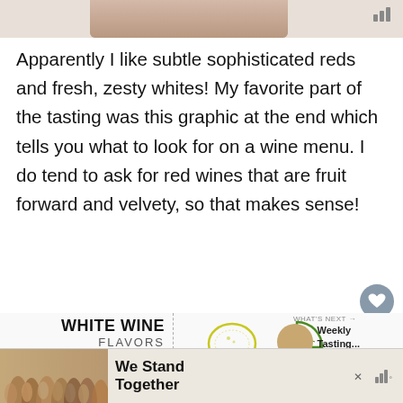[Figure (photo): Top portion of a photo showing people's hands/torsos, partially cropped]
Apparently I like subtle sophisticated reds and fresh, zesty whites! My favorite part of the tasting was this graphic at the end which tells you what to look for on a wine menu. I do tend to ask for red wines that are fruit forward and velvety, so that makes sense!
[Figure (infographic): WHITE WINE FLAVORS YOU'LL PREFER infographic showing fruit icons: 1. LEMON (yellow lemon outline), 2. LIME (green lime slice), 3. Orange (orange slice icon), 4. chocolate/other (brown icon). Items listed: 1. LEMON, 2. LIME]
[Figure (screenshot): Advertisement banner at bottom: group photo of people with arms around each other, text 'We Stand Together', close button X, and bar signal icon on the right]